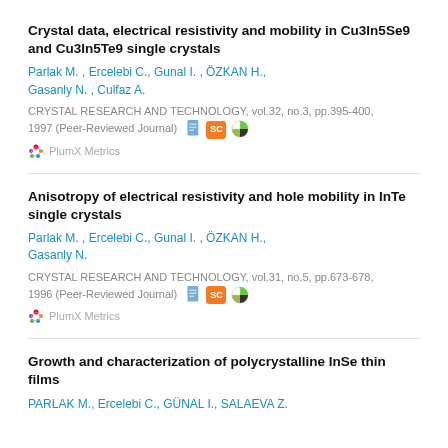Crystal data, electrical resistivity and mobility in Cu3In5Se9 and Cu3In5Te9 single crystals
Parlak M. , Ercelebi C., Gunal I. , ÖZKAN H., Gasanly N. , Culfaz A.
CRYSTAL RESEARCH AND TECHNOLOGY, vol.32, no.3, pp.395-400, 1997 (Peer-Reviewed Journal)
PlumX Metrics
Anisotropy of electrical resistivity and hole mobility in InTe single crystals
Parlak M. , Ercelebi C., Gunal I. , ÖZKAN H., Gasanly N.
CRYSTAL RESEARCH AND TECHNOLOGY, vol.31, no.5, pp.673-678, 1996 (Peer-Reviewed Journal)
PlumX Metrics
Growth and characterization of polycrystalline InSe thin films
PARLAK M., Ercelebi C., GÜNAL I., SALAEVA Z.